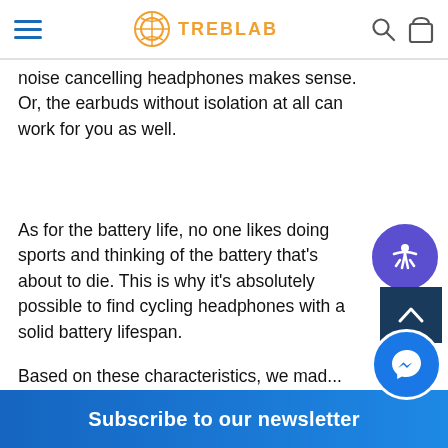TREBLAB
noise cancelling headphones makes sense. Or, the earbuds without isolation at all can work for you as well.
As for the battery life, no one likes doing sports and thinking of the battery that's about to die. This is why it's absolutely possible to find cycling headphones with a solid battery lifespan.
Based on these characteristics, we mad... list of wireless headphones that can be...
Subscribe to our newsletter